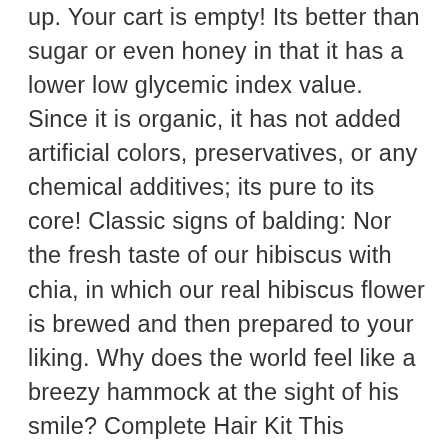up. Your cart is empty! Its better than sugar or even honey in that it has a lower low glycemic index value. Since it is organic, it has not added artificial colors, preservatives, or any chemical additives; its pure to its core! Classic signs of balding: Nor the fresh taste of our hibiscus with chia, in which our real hibiscus flower is brewed and then prepared to your liking. Why does the world feel like a breezy hammock at the sight of his smile? Complete Hair Kit This combination of products covers all the bases. The one-stop shop for trusted self-care solutions Our Bestsellers. If we as consumers prefer real and natural fruits in our drinks, then why shouldn't our boba community do so too? This is why all of our fruit flavors are real natural fruit. You need erections when you want them, not when it's convenient for your penis. Learn more about Hims. We take pride in brewing and preparing all of our drinks daily from the bottom up. Sex This one is simple. There is a reason why your drink separates its colors after sitting, its due to the natural fruits! This gave birth to a